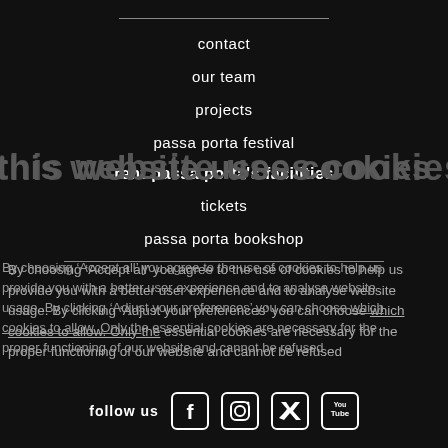contact
our team
this website uses cookies
projects
passa porta festival
rent passa porta's facilities
By choosing 'Accept all' you agree to the use of cookies to help us provide you with a better user experience and to analyse website usage. By clicking 'Adjust your preferences' you can choose which cookies to allow. Only the essential cookies are necessary for the proper functioning of our website and cannot be refused
tickets
passa porta bookshop
accept all cookies  only necessary cookies  Adjust your preferences
follow us